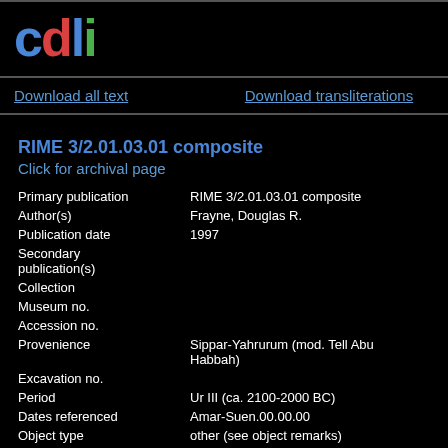[Figure (logo): CDLI logo with colored letters: c in blue, d in red, l in blue, i in green]
Download all text
Download transliterations
RIME 3/2.01.03.01 composite
Click for archival page
| Field | Value |
| --- | --- |
| Primary publication | RIME 3/2.01.03.01 composite |
| Author(s) | Frayne, Douglas R. |
| Publication date | 1997 |
| Secondary publication(s) |  |
| Collection |  |
| Museum no. |  |
| Accession no. |  |
| Provenience | Sippar-Yahrurum (mod. Tell Abu Habbah) |
| Excavation no. |  |
| Period | Ur III (ca. 2100-2000 BC) |
| Dates referenced | Amar-Suen.00.00.00 |
| Object type | other (see object remarks) |
| Remarks | composite text |
| Material | composite |
| Language | Sumerian |
| Genre | Royal/Monumental |